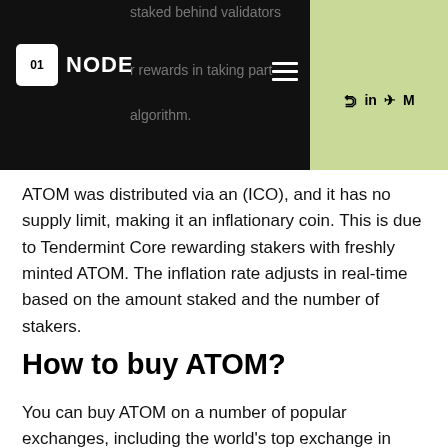01NODE | staked behind validators | rewards in taking part | algorithm.
ATOM was distributed via an (ICO), and it has no supply limit, making it an inflationary coin. This is due to Tendermint Core rewarding stakers with freshly minted ATOM. The inflation rate adjusts in real-time based on the amount staked and the number of stakers.
How to buy ATOM?
You can buy ATOM on a number of popular exchanges, including the world's top exchange in terms of trading volume, Binance...